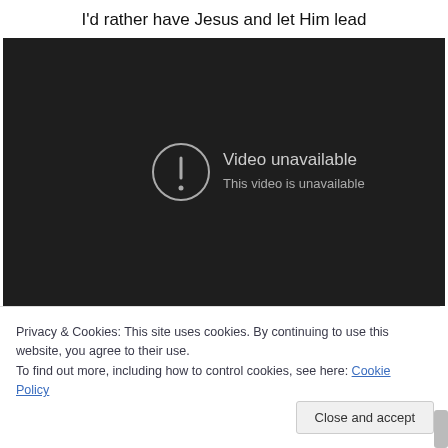I'd rather have Jesus and let Him lead
[Figure (screenshot): Embedded video player showing 'Video unavailable - This video is unavailable' message on a dark background]
Privacy & Cookies: This site uses cookies. By continuing to use this website, you agree to their use.
To find out more, including how to control cookies, see here: Cookie Policy